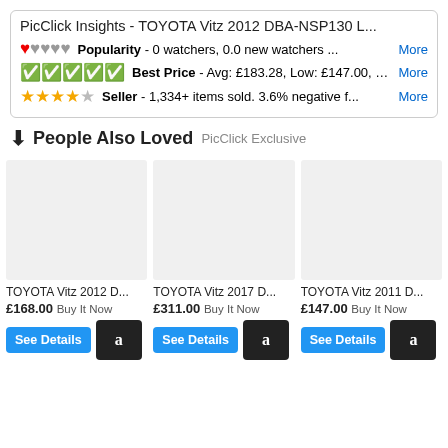PicClick Insights - TOYOTA Vitz 2012 DBA-NSP130 L...
❤🖤🖤🖤🖤 Popularity - 0 watchers, 0.0 new watchers ... More
✅✅✅✅✅ Best Price - Avg: £183.28, Low: £147.00, H... More
★★★★☆ Seller - 1,334+ items sold. 3.6% negative f... More
⬇ People Also Loved PicClick Exclusive
TOYOTA Vitz 2012 D...
£168.00 Buy It Now
TOYOTA Vitz 2017 D...
£311.00 Buy It Now
TOYOTA Vitz 2011 D...
£147.00 Buy It Now